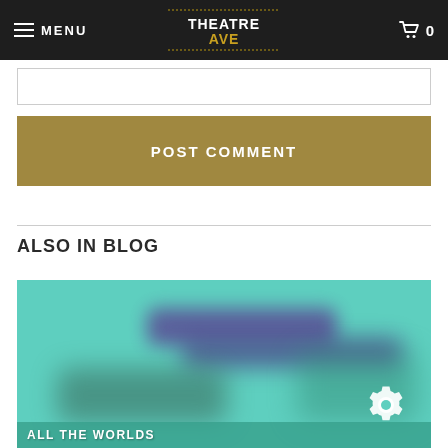MENU | THEATREAVE | 0
POST COMMENT
ALSO IN BLOG
[Figure (photo): Blurred teal-colored blog thumbnail image with purple/indigo blurred shapes and a gear icon overlay at the bottom-right, with partially visible text at the bottom reading 'ALL THE WORLDS']